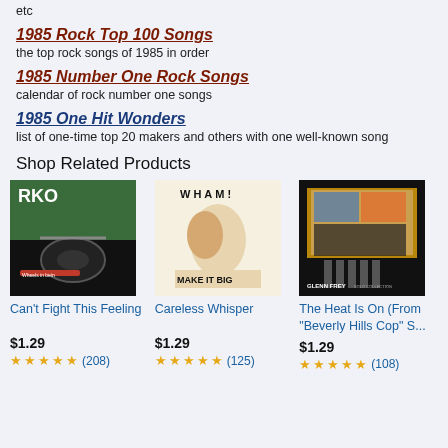etc
1985 Rock Top 100 Songs
the top rock songs of 1985 in order
1985 Number One Rock Songs
calendar of rock number one songs
1985 One Hit Wonders
list of one-time top 20 makers and others with one well-known song
Shop Related Products
[Figure (photo): Album cover for REO Speedwagon - Wheels Are Turnin']
Can't Fight This Feeling
$1.29
★★★★★ (208)
[Figure (photo): Album cover for Wham! - Make It Big]
Careless Whisper
$1.29
★★★★★ (125)
[Figure (photo): Album cover for Glenn Frey Solo Collection]
The Heat Is On (From "Beverly Hills Cop" S...
$1.29
★★★★★ (108)